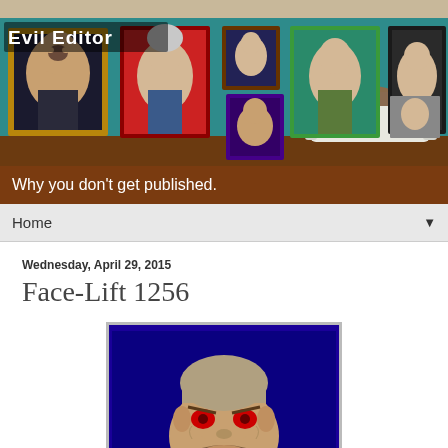[Figure (illustration): Evil Editor blog banner with cartoon portraits of an editor character in various frames on a teal wall, with text 'Evil Editor' in top left]
Why you don't get published.
Home
Wednesday, April 29, 2015
Face-Lift 1256
[Figure (illustration): Cartoon illustration of an angry-looking older man's face with grey hair and red eyes on a dark blue background]